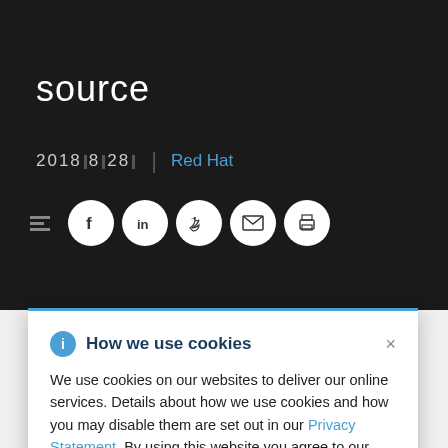source
2018▌8▌28▌  |  Red Hat
[Figure (infographic): Social sharing icons: a small bars icon, Facebook (f), LinkedIn (in), Twitter bird, envelope/email, and printer icons in white circles on dark background]
How we use cookies
We use cookies on our websites to deliver our online services. Details about how we use cookies and how you may disable them are set out in our Privacy Statement. By using this website you agree to our use of cookies.